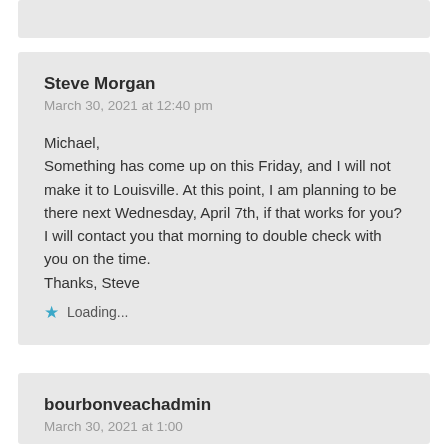Steve Morgan
March 30, 2021 at 12:40 pm
Michael,
Something has come up on this Friday, and I will not make it to Louisville. At this point, I am planning to be there next Wednesday, April 7th, if that works for you? I will contact you that morning to double check with you on the time.
Thanks, Steve
Loading...
bourbonveachadmin